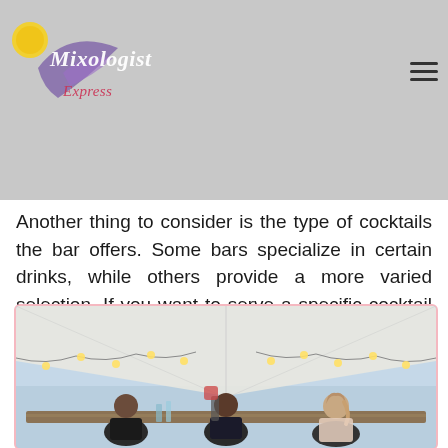[Figure (logo): Mixologist Express logo with lemon icon and cursive text over a purple bird/leaf shape]
bar will take up. Most mobile cocktail bars are large, so make sure you have enough room for them at your venue. You should also ask if the bar offers discounts for large groups. If you're hosting a significant event, this could save you some money.
Another thing to consider is the type of cocktails the bar offers. Some bars specialize in certain drinks, while others provide a more varied selection. If you want to serve a specific cocktail at your party, make sure the bar has recipes for them.
[Figure (photo): Three people standing behind a bar setup inside a white marquee tent decorated with fairy lights, at dusk with a blue sky visible above.]